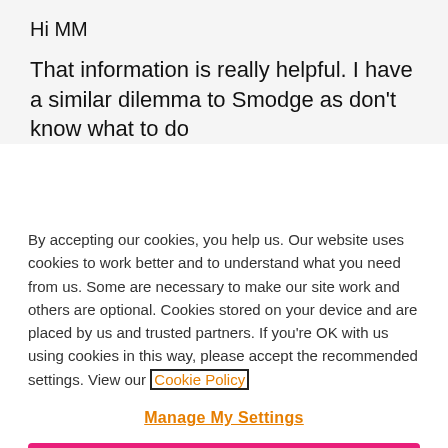Hi MM
That information is really helpful. I have a similar dilemma to Smodge as don’t know what to do
By accepting our cookies, you help us. Our website uses cookies to work better and to understand what you need from us. Some are necessary to make our site work and others are optional. Cookies stored on your device and are placed by us and trusted partners. If you’re OK with us using cookies in this way, please accept the recommended settings. View our Cookie Policy
Manage My Settings
Reject All
Accept All Cookies